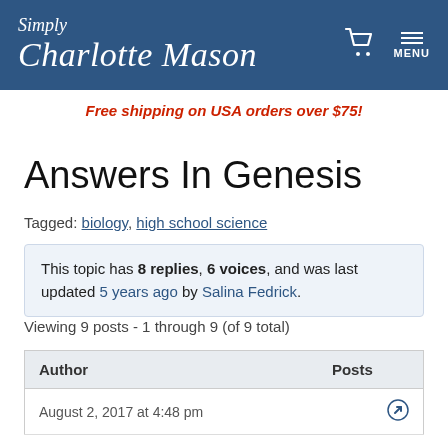Simply Charlotte Mason — MENU
Free shipping on USA orders over $75!
Answers In Genesis
Tagged: biology, high school science
This topic has 8 replies, 6 voices, and was last updated 5 years ago by Salina Fedrick.
Viewing 9 posts - 1 through 9 (of 9 total)
| Author | Posts |
| --- | --- |
| August 2, 2017 at 4:48 pm |  |